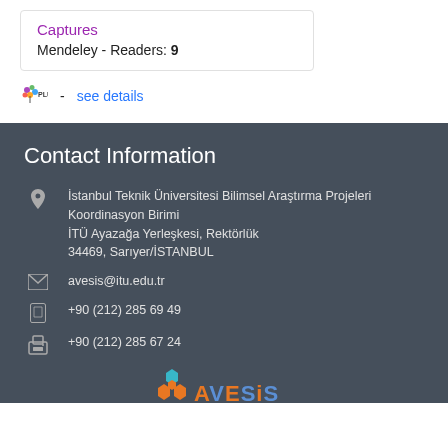Captures
Mendeley - Readers: 9
[Figure (logo): PlumX logo with leaf icon, followed by '- see details' link]
Contact Information
İstanbul Teknik Üniversitesi Bilimsel Araştırma Projeleri Koordinasyon Birimi
İTÜ Ayazağa Yerleşkesi, Rektörlük
34469, Sarıyer/İSTANBUL
avesis@itu.edu.tr
+90 (212) 285 69 49
+90 (212) 285 67 24
[Figure (logo): AVESIS logo with hexagon icon in orange and teal colors]